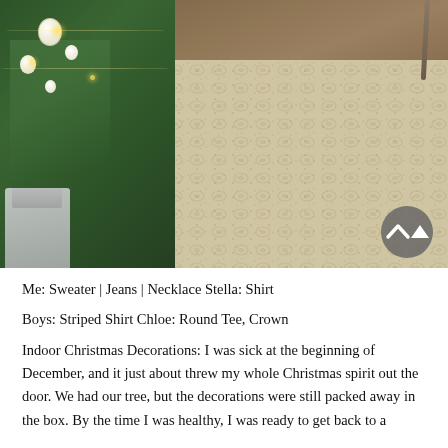[Figure (photo): A photo showing a decorated Christmas tree on the left with white ornaments and lights, and a cream/beige patterned rug in the center-right, with a wood floor visible at the top. There is also a gray fabric/gift bag at the bottom left.]
Me: Sweater | Jeans | Necklace Stella: Shirt
Boys: Striped Shirt Chloe: Round Tee, Crown
Indoor Christmas Decorations: I was sick at the beginning of December, and it just about threw my whole Christmas spirit out the door. We had our tree, but the decorations were still packed away in the box. By the time I was healthy, I was ready to get back to a